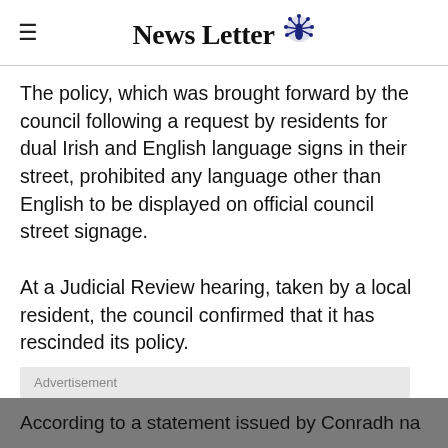News Letter
The policy, which was brought forward by the council following a request by residents for dual Irish and English language signs in their street, prohibited any language other than English to be displayed on official council street signage.
At a Judicial Review hearing, taken by a local resident, the council confirmed that it has rescinded its policy.
Advertisement
According to a statement issued by Conradh na